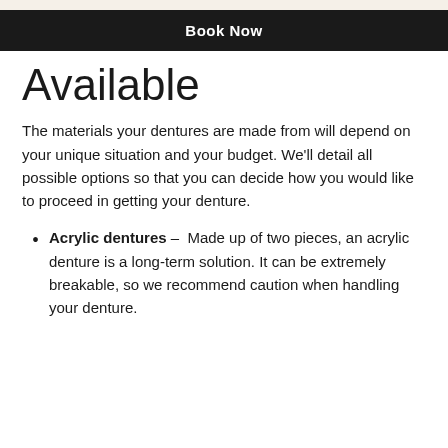Book Now
Available
The materials your dentures are made from will depend on your unique situation and your budget. We'll detail all possible options so that you can decide how you would like to proceed in getting your denture.
Acrylic dentures – Made up of two pieces, an acrylic denture is a long-term solution. It can be extremely breakable, so we recommend caution when handling your denture.